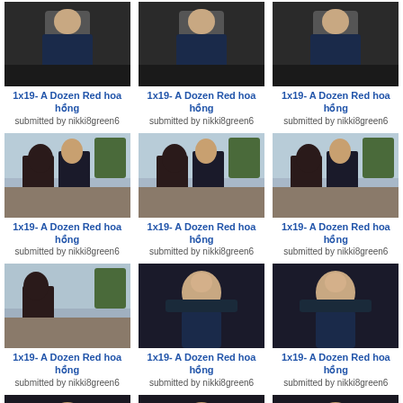[Figure (photo): TV show screenshot - man in dark suit]
1x19- A Dozen Red hoa hồng
submitted by nikki8green6
[Figure (photo): TV show screenshot - man in dark suit]
1x19- A Dozen Red hoa hồng
submitted by nikki8green6
[Figure (photo): TV show screenshot - man in dark suit]
1x19- A Dozen Red hoa hồng
submitted by nikki8green6
[Figure (photo): TV show screenshot - outdoor meeting scene]
1x19- A Dozen Red hoa hồng
submitted by nikki8green6
[Figure (photo): TV show screenshot - outdoor meeting scene]
1x19- A Dozen Red hoa hồng
submitted by nikki8green6
[Figure (photo): TV show screenshot - outdoor meeting scene]
1x19- A Dozen Red hoa hồng
submitted by nikki8green6
[Figure (photo): TV show screenshot - outdoor meeting scene partial]
1x19- A Dozen Red hoa hồng
submitted by nikki8green6
[Figure (photo): TV show screenshot - man close-up]
1x19- A Dozen Red hoa hồng
submitted by nikki8green6
[Figure (photo): TV show screenshot - man close-up]
1x19- A Dozen Red hoa hồng
submitted by nikki8green6
[Figure (photo): TV show screenshot - man close-up]
1x19- A Dozen Red hoa hồng
submitted by nikki8green6
[Figure (photo): TV show screenshot - man close-up 2]
1x19- A Dozen Red hoa hồng
submitted by nikki8green6
[Figure (photo): TV show screenshot - man close-up 2]
1x19- A Dozen Red hoa hồng
submitted by nikki8green6
[Figure (photo): TV show screenshot - man close-up 2]
1x19- A Dozen Red hoa hồng
submitted by nikki8green6